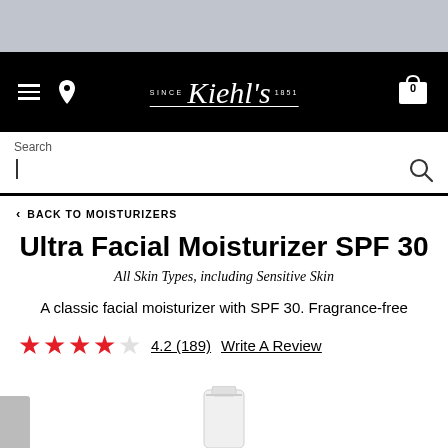[Figure (screenshot): Kiehl's website navigation bar with hamburger menu, location pin icon, Kiehl's Since 1851 logo centered, and cart icon with 0 items on black background]
Search
< BACK TO MOISTURIZERS
Ultra Facial Moisturizer SPF 30
All Skin Types, including Sensitive Skin
A classic facial moisturizer with SPF 30. Fragrance-free
4.2 (189)  Write A Review
[Figure (photo): Partial view of Kiehl's Ultra Facial Moisturizer SPF 30 product bottle, white/silver packaging, cropped at bottom of page]